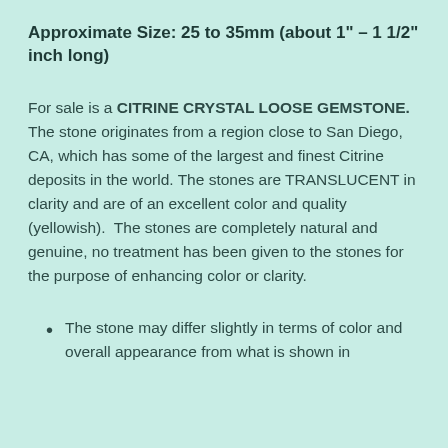Approximate Size: 25 to 35mm (about 1" – 1 1/2" inch long)
For sale is a CITRINE CRYSTAL LOOSE GEMSTONE. The stone originates from a region close to San Diego, CA, which has some of the largest and finest Citrine deposits in the world. The stones are TRANSLUCENT in clarity and are of an excellent color and quality (yellowish).  The stones are completely natural and genuine, no treatment has been given to the stones for the purpose of enhancing color or clarity.
The stone may differ slightly in terms of color and overall appearance from what is shown in